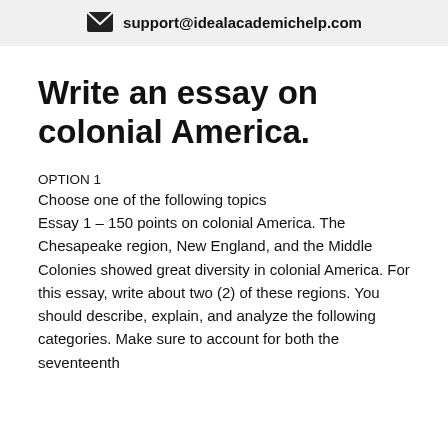support@idealacademichelp.com
Write an essay on colonial America.
OPTION 1
Choose one of the following topics
Essay 1 – 150 points on colonial America. The Chesapeake region, New England, and the Middle Colonies showed great diversity in colonial America. For this essay, write about two (2) of these regions. You should describe, explain, and analyze the following categories. Make sure to account for both the seventeenth